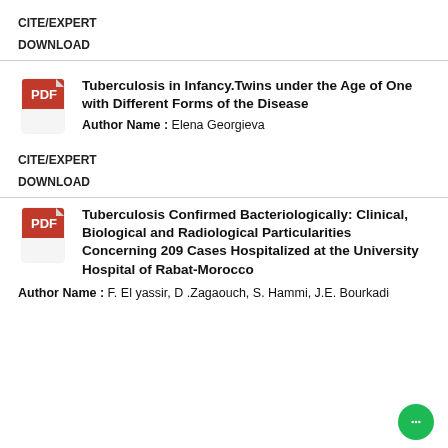CITE/EXPERT
DOWNLOAD
Tuberculosis in Infancy.Twins under the Age of One with Different Forms of the Disease
Author Name : Elena Georgieva
CITE/EXPERT
DOWNLOAD
Tuberculosis Confirmed Bacteriologically: Clinical, Biological and Radiological Particularities Concerning 209 Cases Hospitalized at the University Hospital of Rabat-Morocco
Author Name : F. El yassir, D .Zagaouch, S. Hammi, J.E. Bourkadi